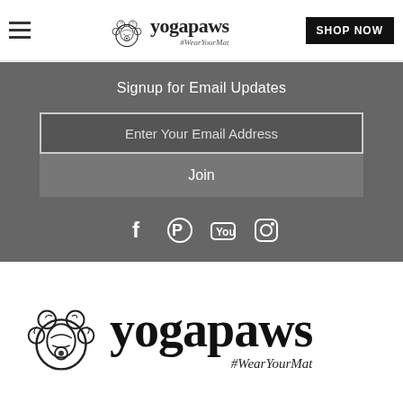[Figure (logo): YogaPaws logo with decorative paw print and text 'yogapaws #WearYourMat' in header navigation bar with hamburger menu and SHOP NOW button]
Signup for Email Updates
Enter Your Email Address
Join
[Figure (illustration): Social media icons: Facebook, Pinterest, YouTube, Instagram]
[Figure (logo): Large YogaPaws logo with decorative paw print and text 'yogapaws #WearYourMat']